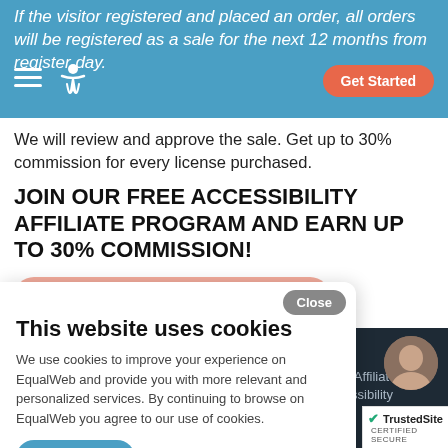If the visitor registered and placed an order, all orders will be registered as a sale for the next 12 months from register day.
We will review and approve the sale. Get up to 30% commission for every license purchased.
JOIN OUR FREE ACCESSIBILITY AFFILIATE PROGRAM AND EARN UP TO 30% COMMISSION!
Start FREE Make money Today!
This website uses cookies
We use cookies to improve your experience on EqualWeb and provide you with more relevant and personalized services. By continuing to browse on EqualWeb you agree to our use of cookies.
Learn More
EqualWeb's Affiliate
Boost your earnings by driving traffic to EqualWeb with our Affiliate program. Promote the world's largest marketplace for accessibility solution. Get paid to drive tra
[Figure (other): TrustedSite certified secure badge]